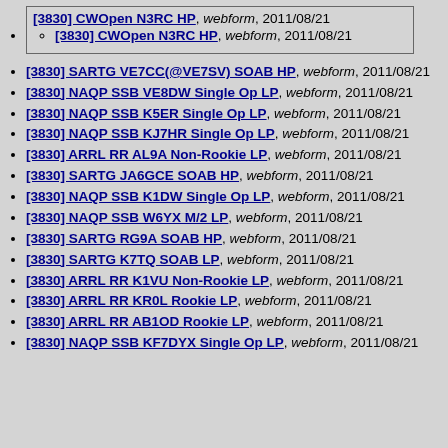[3830] CWOpen N3RC HP, webform, 2011/08/21
  [3830] CWOpen N3RC HP, webform, 2011/08/21
[3830] SARTG VE7CC(@VE7SV) SOAB HP, webform, 2011/08/21
[3830] NAQP SSB VE8DW Single Op LP, webform, 2011/08/21
[3830] NAQP SSB K5ER Single Op LP, webform, 2011/08/21
[3830] NAQP SSB KJ7HR Single Op LP, webform, 2011/08/21
[3830] ARRL RR AL9A Non-Rookie LP, webform, 2011/08/21
[3830] SARTG JA6GCE SOAB HP, webform, 2011/08/21
[3830] NAQP SSB K1DW Single Op LP, webform, 2011/08/21
[3830] NAQP SSB W6YX M/2 LP, webform, 2011/08/21
[3830] SARTG RG9A SOAB HP, webform, 2011/08/21
[3830] SARTG K7TQ SOAB LP, webform, 2011/08/21
[3830] ARRL RR K1VU Non-Rookie LP, webform, 2011/08/21
[3830] ARRL RR KR0L Rookie LP, webform, 2011/08/21
[3830] ARRL RR AB1OD Rookie LP, webform, 2011/08/21
[3830] NAQP SSB KF7DYX Single Op LP, webform, 2011/08/21